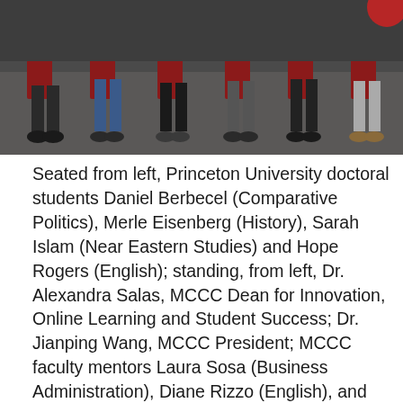[Figure (photo): Group photo showing people seated and standing in a room. The lower portion shows people's legs, feet, and shoes seated on chairs, with a carpeted floor visible.]
Seated from left, Princeton University doctoral students Daniel Berbecel (Comparative Politics), Merle Eisenberg (History), Sarah Islam (Near Eastern Studies) and Hope Rogers (English); standing, from left, Dr. Alexandra Salas, MCCC Dean for Innovation, Online Learning and Student Success; Dr. Jianping Wang, MCCC President; MCCC faculty mentors Laura Sosa (Business Administration), Diane Rizzo (English), and Dr. Daniel Schermond, (Sociology); Amy Pszczolkowski, Princeton University's Assistant Dean for Professional Development in the Office of the Dean of the Graduate School; Dr. Robert Kleinschmidt, MCCC Dean for Liberal Arts, and Dr. David Edwards, Vice President for Academic Affairs. Not